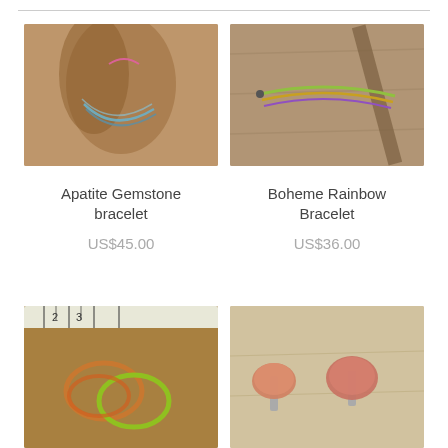[Figure (photo): Apatite gemstone bracelet displayed on a wooden stand]
Apatite Gemstone bracelet
US$45.00
[Figure (photo): Boheme Rainbow Bracelet laid flat on wood surface]
Boheme Rainbow Bracelet
US$36.00
[Figure (photo): Brass bracelet with a twist shown on a ruler/wooden board]
Brass Bracelet with a twist
[Figure (photo): Carnelian cufflinks on a light wooden surface]
Carnelian cufflinks
US$210.00